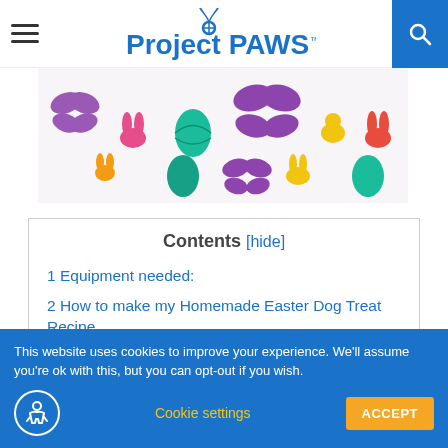Project PAWS
[Figure (photo): Colorful Easter-shaped dog treat cookies in pink, yellow, teal, and purple shapes including butterflies, bunnies, and Easter eggs arranged on a white surface.]
Contents [hide]
1 Equipment needed:
2 How to make my Homemade Easter Dog Treat Recipe
3 FAQ’s:
This website uses cookies to improve your experience. We’ll assume you’re ok with this, but you can opt-out if you wish.
Cookie settings  ACCEPT